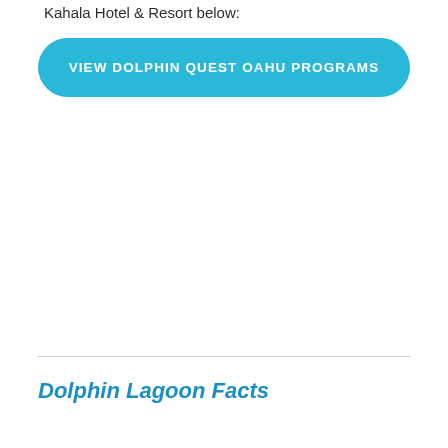Kahala Hotel & Resort below:
[Figure (other): Blue rounded rectangle button with white uppercase text: VIEW DOLPHIN QUEST OAHU PROGRAMS]
Dolphin Lagoon Facts